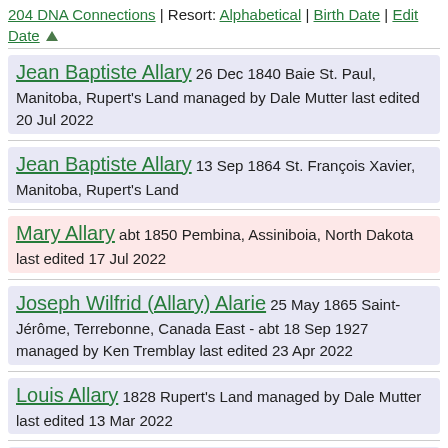204 DNA Connections | Resort: Alphabetical | Birth Date | Edit Date
Jean Baptiste Allary 26 Dec 1840 Baie St. Paul, Manitoba, Rupert's Land managed by Dale Mutter last edited 20 Jul 2022
Jean Baptiste Allary 13 Sep 1864 St. François Xavier, Manitoba, Rupert's Land
Mary Allary abt 1850 Pembina, Assiniboia, North Dakota last edited 17 Jul 2022
Joseph Wilfrid (Allary) Alarie 25 May 1865 Saint-Jérôme, Terrebonne, Canada East - abt 18 Sep 1927 managed by Ken Tremblay last edited 23 Apr 2022
Louis Allary 1828 Rupert's Land managed by Dale Mutter last edited 13 Mar 2022
Abraham Allary Sep 1856 Red River Settlement
Jane Allary 01 Sep 1857 Red River Settlement